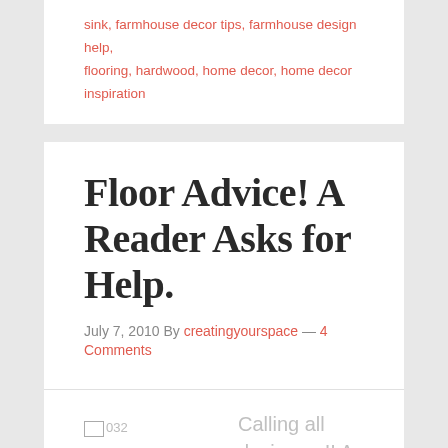sink, farmhouse decor tips, farmhouse design help, flooring, hardwood, home decor, home decor inspiration
Floor Advice! A Reader Asks for Help.
July 7, 2010 By creatingyourspace — 4 Comments
[Figure (photo): Broken image placeholder labeled 032]
Calling all designers!! A